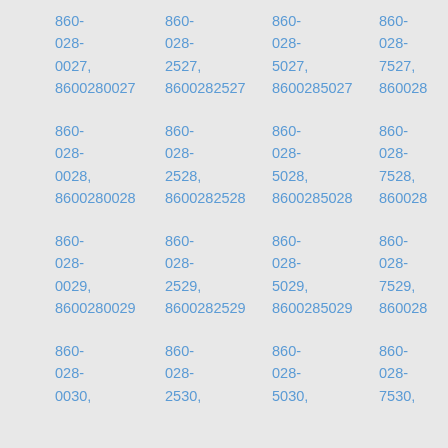860-
028-
0027,
8600280027 8600282527 8600285027 8600287527
860-
028-
2527,
860-
028-
5027,
860-
028-
7527,
860-
028-
0028,
8600280028 8600282528 8600285028 8600287528
860-
028-
2528,
860-
028-
5028,
860-
028-
7528,
860-
028-
0029,
8600280029 8600282529 8600285029 8600287529
860-
028-
2529,
860-
028-
5029,
860-
028-
7529,
860-
028-
0030,
860-
028-
2530,
860-
028-
5030,
860-
028-
7530,